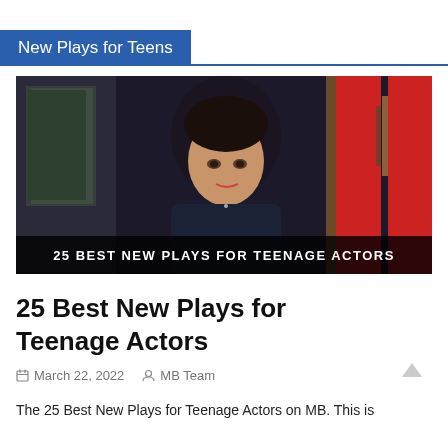New Plays for Teens
[Figure (photo): Young woman with dark hair up, wearing a denim jacket, standing in front of red pillars and glass panels. Overlay text reads: 25 BEST NEW PLAYS FOR TEENAGE ACTORS]
25 Best New Plays for Teenage Actors
March 22, 2022   MB Team
The 25 Best New Plays for Teenage Actors on MB. This is